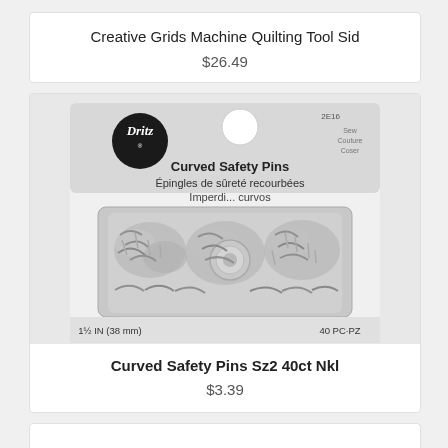Creative Grids Machine Quilting Tool Sid
$26.49
[Figure (photo): Dritz brand Curved Safety Pins packaging showing nickel-plated curved safety pins, size 1.5 IN (38mm), 40 PC, with multilingual labeling including Curved Safety Pins, Épingles de sûreté recourbées, Imperdi... curvos]
Curved Safety Pins Sz2 40ct Nkl
$3.39